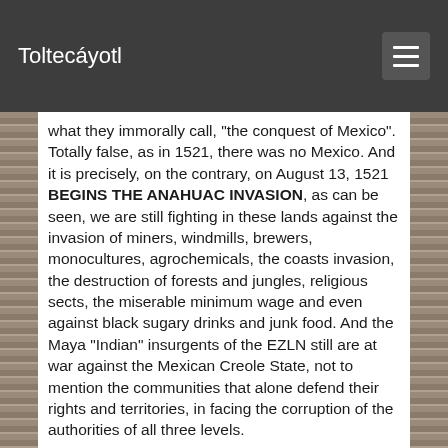Toltecáyotl
what they immorally call, "the conquest of Mexico". Totally false, as in 1521, there was no Mexico. And it is precisely, on the contrary, on August 13, 1521 BEGINS THE ANAHUAC INVASION, as can be seen, we are still fighting in these lands against the invasion of miners, windmills, brewers, monocultures, agrochemicals, the coasts invasion, the destruction of forests and jungles, religious sects, the miserable minimum wage and even against black sugary drinks and junk food. And the Maya "Indian" insurgents of the EZLN still are at war against the Mexican Creole State, not to mention the communities that alone defend their rights and territories, in facing the corruption of the authorities of all three levels.